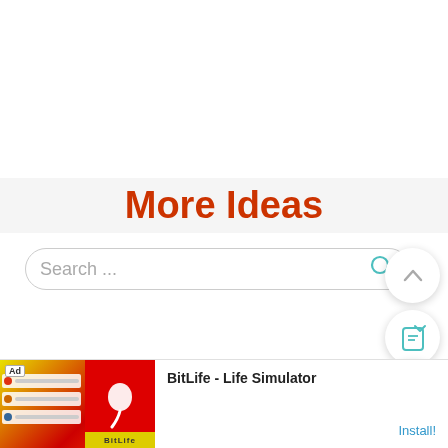More Ideas
[Figure (screenshot): Search bar with placeholder text 'Search ...' and a teal magnifier icon on the right]
[Figure (screenshot): Side navigation buttons: up arrow circle button, share/save icon with count 28, heart/favorite circle button, teal search circle button]
[Figure (screenshot): Advertisement banner at the bottom: Ad label, BitLife app promotional image with sperm icon and app screenshots, text 'BitLife - Life Simulator', Install button link in teal]